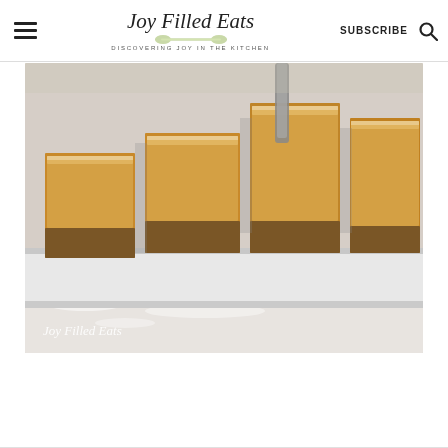Joy Filled Eats — DISCOVERING JOY IN THE KITCHEN | SUBSCRIBE
[Figure (photo): Close-up photo of pumpkin cheesecake bars with a nut crust, dusted with powdered sugar, arranged on a white baking pan on a marble surface. Watermark reads 'Joy Filled Eats' in script at bottom left.]